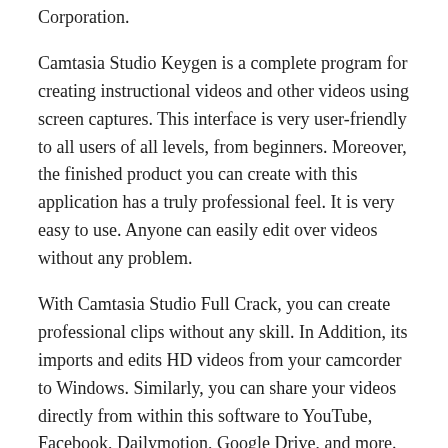Corporation.
Camtasia Studio Keygen is a complete program for creating instructional videos and other videos using screen captures. This interface is very user-friendly to all users of all levels, from beginners. Moreover, the finished product you can create with this application has a truly professional feel. It is very easy to use. Anyone can easily edit over videos without any problem.
With Camtasia Studio Full Crack, you can create professional clips without any skill. In Addition, its imports and edits HD videos from your camcorder to Windows. Similarly, you can share your videos directly from within this software to YouTube, Facebook, Dailymotion, Google Drive, and more. Moreover, The editor has been improved to provide a smoother experience. Improved preview playback, improved responsiveness during editing, and improved stability.